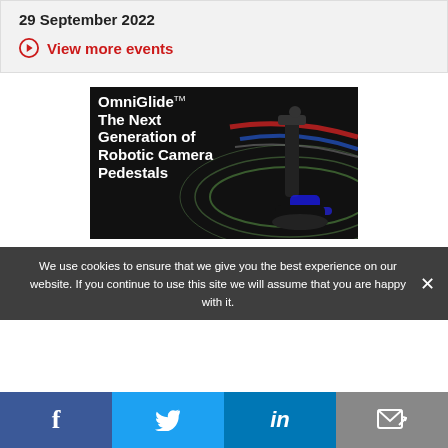29 September 2022
View more events
[Figure (photo): OmniGlide TM advertisement: The Next Generation of Robotic Camera Pedestals — dark background with a robotic camera pedestal device and decorative swirl lines]
We use cookies to ensure that we give you the best experience on our website. If you continue to use this site we will assume that you are happy with it.
Facebook | Twitter | LinkedIn | Email share icons